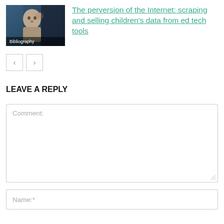[Figure (photo): Thumbnail of a young child with hand on head looking surprised, with 'Bibliography' label overlay]
The perversion of the Internet: scraping and selling children's data from ed tech tools
< >
LEAVE A REPLY
Comment:
Name:*